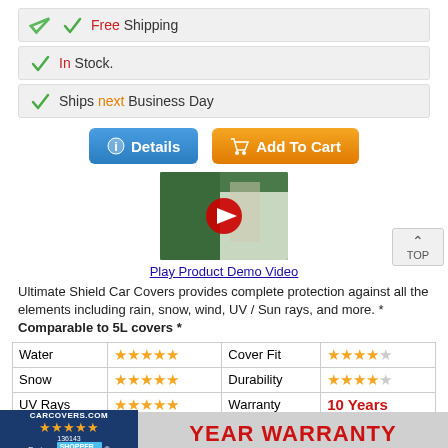✓ Free Shipping
✓ In Stock.
✓ Ships next Business Day
[Figure (screenshot): Details button (blue) and Add To Cart button (orange)]
[Figure (screenshot): YouTube video thumbnail showing a man with a car cover, with red play button overlay]
Play Product Demo Video
Ultimate Shield Car Covers provides complete protection against all the elements including rain, snow, wind, UV / Sun rays, and more. * Comparable to 5L covers *
| Category | Rating | Category | Rating |
| --- | --- | --- | --- |
| Water | ★★★★★ | Cover Fit | ★★★★☆ |
| Snow | ★★★★★ | Durability | ★★★★☆ |
| UV Rays | ★★★★★ | Warranty | 10 Years |
[Figure (logo): CarCovers.com Shopper Approved badge with 136143 reviews and star rating]
YEAR WARRANTY